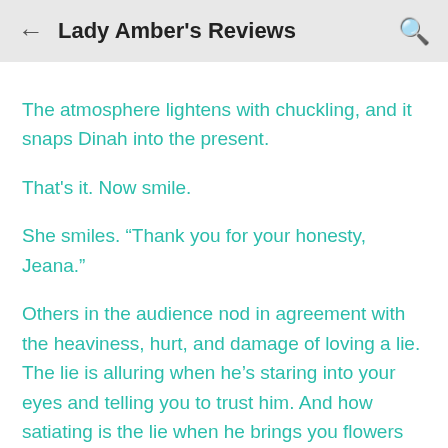Lady Amber's Reviews
The atmosphere lightens with chuckling, and it snaps Dinah into the present.
That's it. Now smile.
She smiles. “Thank you for your honesty, Jeana.”
Others in the audience nod in agreement with the heaviness, hurt, and damage of loving a lie. The lie is alluring when he’s staring into your eyes and telling you to trust him. And how satiating is the lie when he brings you flowers and a smile? The lie massages your ego, urges patience, tells you things will change, and makes you forget his demons. But, soon enough, the lie becomes dangerous when truth desires to prevail,